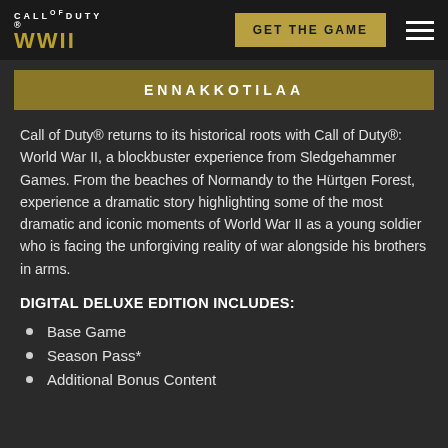CALL OF DUTY WWII | GET THE GAME
ENNAKKOTILAA
Call of Duty® returns to its historical roots with Call of Duty®: World War II, a blockbuster experience from Sledgehammer Games. From the beaches of Normandy to the Hürtgen Forest, experience a dramatic story highlighting some of the most dramatic and iconic moments of World War II as a young soldier who is facing the unforgiving reality of war alongside his brothers in arms.
DIGITAL DELUXE EDITION INCLUDES:
Base Game
Season Pass*
Additional Bonus Content